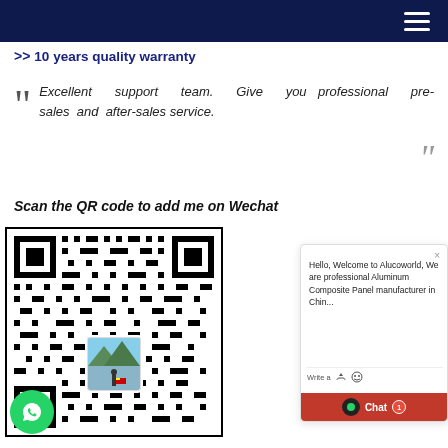navigation bar with hamburger menu
>> 10 years quality warranty
Excellent support team. Give you professional pre-sales and after-sales service.
Scan the QR code to add me on Wechat
[Figure (other): WeChat QR code with a profile photo in the center showing a person in a landscape, and a WhatsApp icon in the bottom-left corner]
Hello, Welcome to Alucoworld, We are professional Aluminum Composite Panel manufacturer in China...
Write a message. Could you please...
Chat